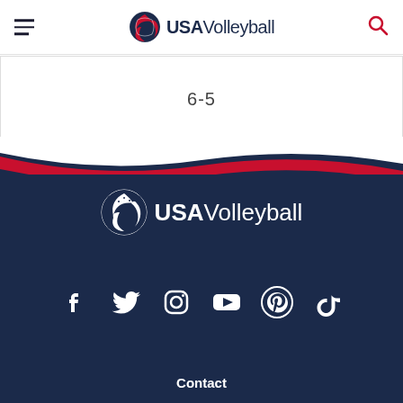USA Volleyball — navigation header with hamburger menu and search icon
6-5
[Figure (logo): USA Volleyball logo in white on dark navy background]
[Figure (infographic): Social media icons: Facebook, Twitter, Instagram, YouTube, Pinterest, TikTok]
Contact